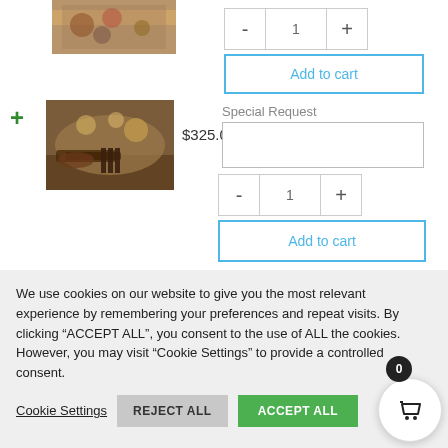[Figure (photo): Partial food/snack product image at top, cropped]
1
Add to cart
[Figure (photo): Charcuterie/cheese and meat platter on a wooden board]
$325.00
Special Request
1
Add to cart
We use cookies on our website to give you the most relevant experience by remembering your preferences and repeat visits. By clicking "ACCEPT ALL", you consent to the use of ALL the cookies. However, you may visit "Cookie Settings" to provide a controlled consent.
Cookie Settings
REJECT ALL
ACCEPT ALL